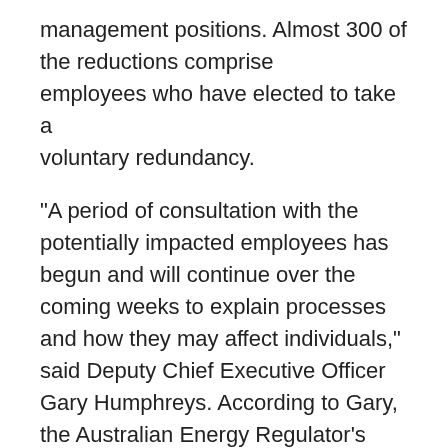management positions. Almost 300 of the reductions comprise employees who have elected to take a voluntary redundancy.
"A period of consultation with the potentially impacted employees has begun and will continue over the coming weeks to explain processes and how they may affect individuals," said Deputy Chief Executive Officer Gary Humphreys. According to Gary, the Australian Energy Regulator's (AER) 30% cut in operating expenditure had left Essential Energy without funding for an estimated 1,395 positions, costing the business about $15 million per month.
"We've got to start operating our business within the AER's funding constraints and with fewer employees within our structures from the initiation and